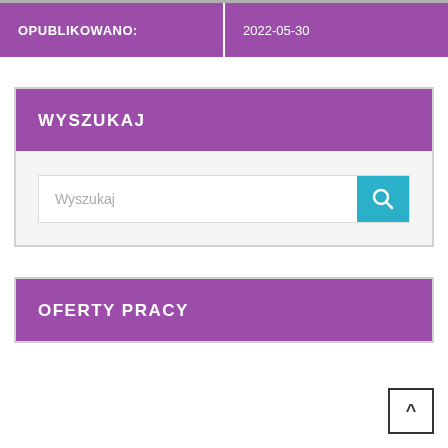| OPUBLIKOWANO: |  |
| --- | --- |
| OPUBLIKOWANO: | 2022-05-30 |
WYSZUKAJ
Wyszukaj
OFERTY PRACY